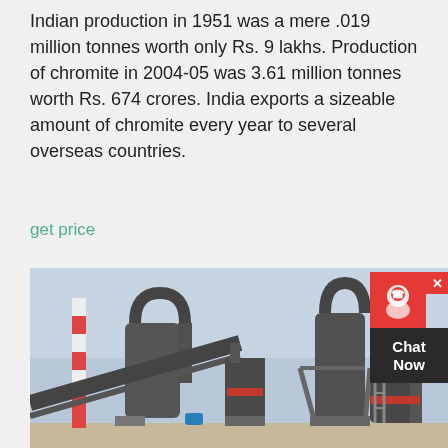Indian production in 1951 was a mere .019 million tonnes worth only Rs. 9 lakhs. Production of chromite in 2004-05 was 3.61 million tonnes worth Rs. 674 crores. India exports a sizeable amount of chromite every year to several overseas countries.
get price
[Figure (photo): Industrial facility showing large grey metal processing or milling equipment with pipes, cyclones, conveyor belts, and industrial structures. A striped chimney stack is visible on the left side. Sky is light blue-grey in background.]